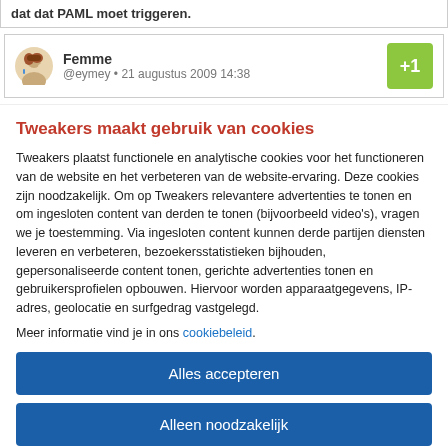dat dat PAML moet triggeren.
Femme @eymey • 21 augustus 2009 14:38 +1
Tweakers maakt gebruik van cookies
Tweakers plaatst functionele en analytische cookies voor het functioneren van de website en het verbeteren van de website-ervaring. Deze cookies zijn noodzakelijk. Om op Tweakers relevantere advertenties te tonen en om ingesloten content van derden te tonen (bijvoorbeeld video's), vragen we je toestemming. Via ingesloten content kunnen derde partijen diensten leveren en verbeteren, bezoekersstatistieken bijhouden, gepersonaliseerde content tonen, gerichte advertenties tonen en gebruikersprofielen opbouwen. Hiervoor worden apparaatgegevens, IP-adres, geolocatie en surfgedrag vastgelegd.
Meer informatie vind je in ons cookiebeleid.
Alles accepteren
Alleen noodzakelijk
Voorkeuren aanpassen